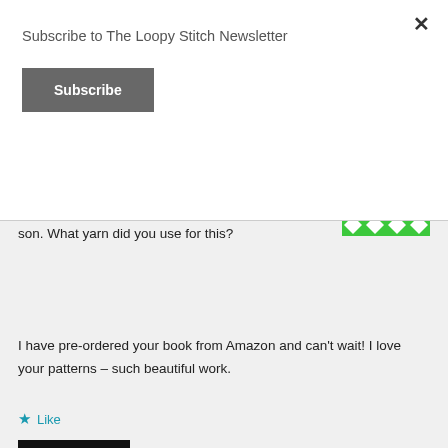Subscribe to The Loopy Stitch Newsletter
Subscribe
October 5, 2017
Hi Emily. This is next on my hook for my 7 year old son. What yarn did you use for this?
I have pre-ordered your book from Amazon and can't wait! I love your patterns – such beautiful work.
Like
Reply
theloopystitches